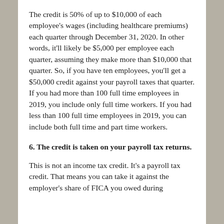The credit is 50% of up to $10,000 of each employee's wages (including healthcare premiums) each quarter through December 31, 2020. In other words, it'll likely be $5,000 per employee each quarter, assuming they make more than $10,000 that quarter. So, if you have ten employees, you'll get a $50,000 credit against your payroll taxes that quarter. If you had more than 100 full time employees in 2019, you include only full time workers. If you had less than 100 full time employees in 2019, you can include both full time and part time workers.
6. The credit is taken on your payroll tax returns.
This is not an income tax credit. It's a payroll tax credit. That means you can take it against the employer's share of FICA you owed during